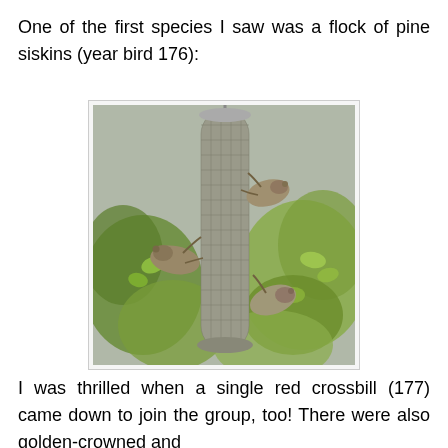One of the first species I saw was a flock of pine siskins (year bird 176):
[Figure (photo): Photo of multiple pine siskin birds clinging to a cylindrical mesh bird feeder, with green foliage visible in the background.]
I was thrilled when a single red crossbill (177) came down to join the group, too! There were also golden-crowned and